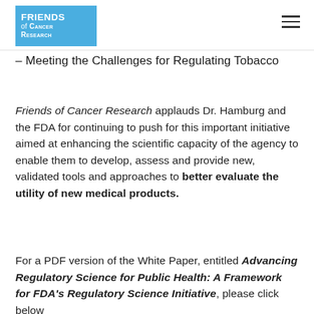Friends of Cancer Research
– Meeting the Challenges for Regulating Tobacco
Friends of Cancer Research applauds Dr. Hamburg and the FDA for continuing to push for this important initiative aimed at enhancing the scientific capacity of the agency to enable them to develop, assess and provide new, validated tools and approaches to better evaluate the utility of new medical products.
For a PDF version of the White Paper, entitled Advancing Regulatory Science for Public Health: A Framework for FDA's Regulatory Science Initiative, please click below